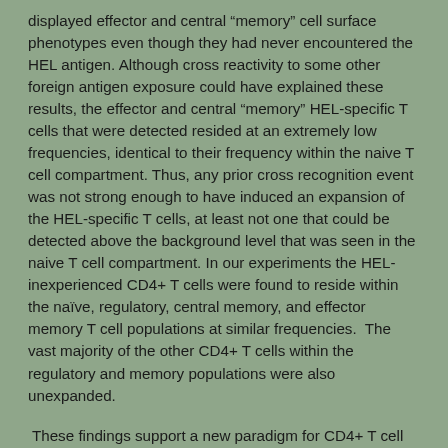displayed effector and central “memory” cell surface phenotypes even though they had never encountered the HEL antigen. Although cross reactivity to some other foreign antigen exposure could have explained these results, the effector and central “memory” HEL-specific T cells that were detected resided at an extremely low frequencies, identical to their frequency within the naive T cell compartment. Thus, any prior cross recognition event was not strong enough to have induced an expansion of the HEL-specific T cells, at least not one that could be detected above the background level that was seen in the naive T cell compartment. In our experiments the HEL-inexperienced CD4+ T cells were found to reside within the naïve, regulatory, central memory, and effector memory T cell populations at similar frequencies.  The vast majority of the other CD4+ T cells within the regulatory and memory populations were also unexpanded.
These findings support a new paradigm for CD4+ T cell maturation in which a specific clone can undergo a differentiation process to exhibit a “memory” or regulatory phenotype without having undergone a clonal expansion